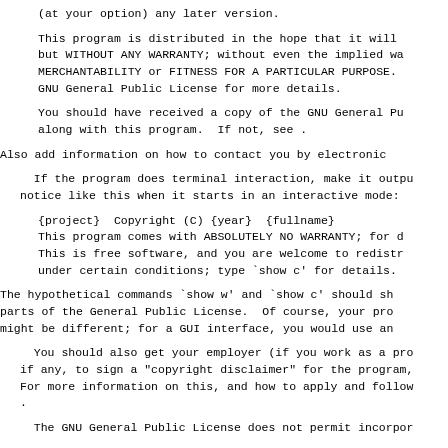(at your option) any later version.
This program is distributed in the hope that it will
but WITHOUT ANY WARRANTY; without even the implied wa
MERCHANTABILITY or FITNESS FOR A PARTICULAR PURPOSE.
GNU General Public License for more details.
You should have received a copy of the GNU General Pu
along with this program.  If not, see .
Also add information on how to contact you by electronic
If the program does terminal interaction, make it outpu
notice like this when it starts in an interactive mode:
{project}  Copyright (C) {year}  {fullname}
This program comes with ABSOLUTELY NO WARRANTY; for d
This is free software, and you are welcome to redistr
under certain conditions; type `show c' for details.
The hypothetical commands `show w' and `show c' should sh
parts of the General Public License.  Of course, your pro
might be different; for a GUI interface, you would use an
You should also get your employer (if you work as a pro
if any, to sign a "copyright disclaimer" for the program,
For more information on this, and how to apply and follow
.
The GNU General Public License does not permit incorpor